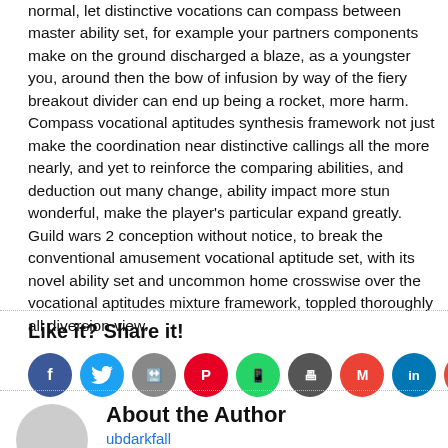normal, let distinctive vocations can compass between master ability set, for example your partners components make on the ground discharged a blaze, as a youngster you, around then the bow of infusion by way of the fiery breakout divider can end up being a rocket, more harm. Compass vocational aptitudes synthesis framework not just make the coordination near distinctive callings all the more nearly, and yet to reinforce the comparing abilities, and deduction out many change, ability impact more stun wonderful, make the player’s particular expand greatly. Guild wars 2 conception without notice, to break the conventional amusement vocational aptitude set, with its novel ability set and uncommon home crosswise over the vocational aptitudes mixture framework, toppled thoroughly all diversion view.
Like it? Share it!
[Figure (other): Row of social media share buttons: Facebook, Twitter, Reddit, Pinterest, WhatsApp, Print, Gmail, LinkedIn, Google+, More]
About the Author
ubdarkfall
Joined: November 29th, 2012